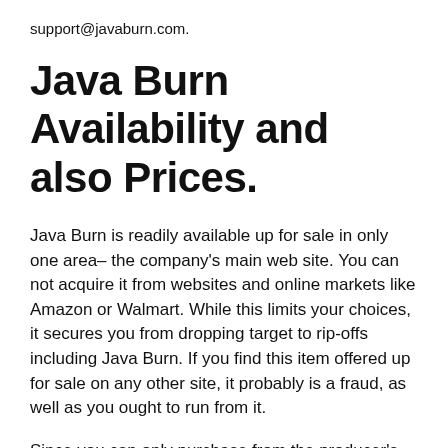support@javaburn.com.
Java Burn Availability and also Prices.
Java Burn is readily available up for sale in only one area– the company's main web site. You can not acquire it from websites and online markets like Amazon or Walmart. While this limits your choices, it secures you from dropping target to rip-offs including Java Burn. If you find this item offered up for sale on any other site, it probably is a fraud, as well as you ought to run from it.
Since you can only purchase from the producer's site, you can conserve a lot of